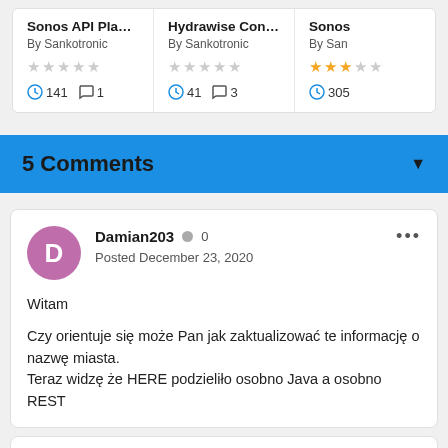[Figure (screenshot): Three product cards showing: 'Sonos API Player V...' by Sankotronic (0 stars, 141 downloads, 1 comment), 'Hydrawise Control...' by Sankotronic (0 stars, 41 downloads, 3 comments), 'Sonos...' by San... (2.5 stars orange, 305 downloads)]
5 Comments
Damian203 • 0
Posted December 23, 2020

Witam

Czy orientuje się może Pan jak zaktualizować te informację o nazwę miasta.
Teraz widzę że HERE podzieliło osobno Java a osobno REST